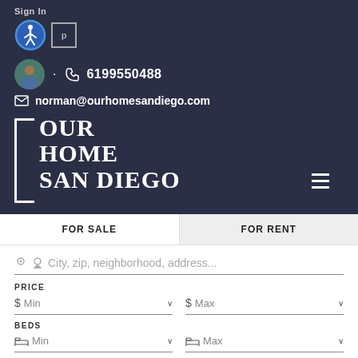Sign In
· 📞 6199550488
✉ norman@ourhomesandiego.com
[Figure (logo): Our Home San Diego logo with bracket design and bold serif text]
FOR SALE
FOR RENT
City, zip, neighborhood, address...
PRICE
$ Min
$ Max
BEDS
Min
Max